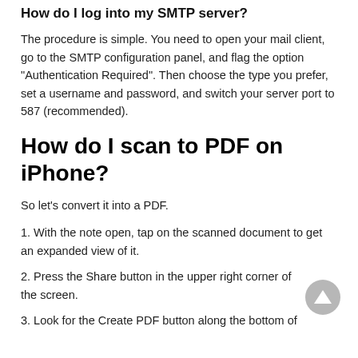How do I log into my SMTP server?
The procedure is simple. You need to open your mail client, go to the SMTP configuration panel, and flag the option "Authentication Required". Then choose the type you prefer, set a username and password, and switch your server port to 587 (recommended).
How do I scan to PDF on iPhone?
So let's convert it into a PDF.
1. With the note open, tap on the scanned document to get an expanded view of it.
2. Press the Share button in the upper right corner of the screen.
3. Look for the Create PDF button along the bottom of